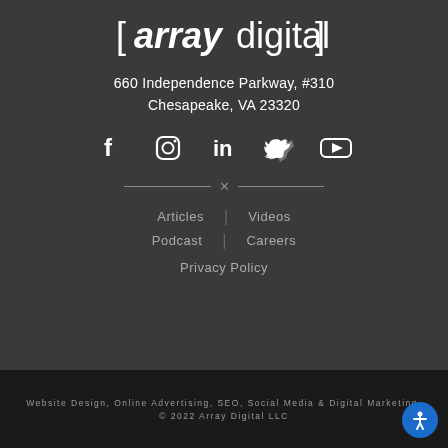[Figure (logo): [array digital] logo in white text on dark background]
660 Independence Parkway, #310
Chesapeake, VA 23320
[Figure (infographic): Social media icons row: Facebook, Instagram, LinkedIn, Twitter, YouTube]
[Figure (other): Decorative divider with X in center and horizontal lines on each side]
Articles | Videos
Podcast | Careers
Privacy Policy
Website Design, Online Advertising, SEO, Social Media & Digital Marketing.
© 2022 Array Digital LLC